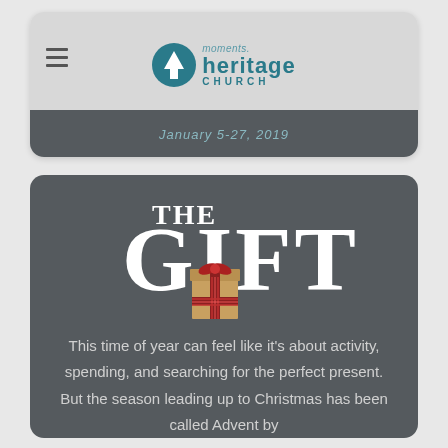[Figure (logo): Heritage Church logo with arrow icon, 'moments.' text, 'heritage CHURCH' text in teal]
January 5-27, 2019
THE GIFT
[Figure (illustration): Gift box illustration with tan/brown box body and red plaid ribbon/bow]
This time of year can feel like it's about activity, spending, and searching for the perfect present. But the season leading up to Christmas has been called Advent by